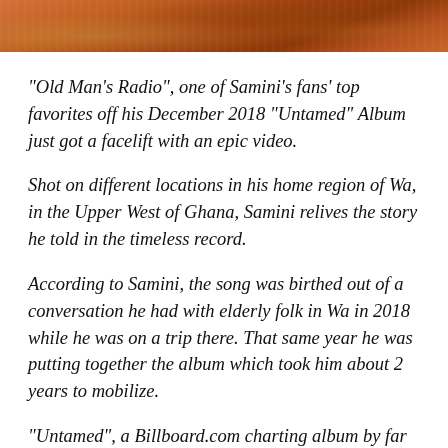[Figure (photo): Partial photo strip at top of page showing a warm orange/brown textured surface, likely food or natural material]
“Old Man’s Radio”, one of Samini’s fans’ top favorites off his December 2018 “Untamed” Album just got a facelift with an epic video.
Shot on different locations in his home region of Wa, in the Upper West of Ghana, Samini relives the story he told in the timeless record.
According to Samini, the song was birthed out of a conversation he had with elderly folk in Wa in 2018 while he was on a trip there. That same year he was putting together the album which took him about 2 years to mobilize.
“Untamed”, a Billboard.com charting album by far has been rated the best Reggae Album by any Ghanaian musician in recent times; the collective which had a fine selection of 22-